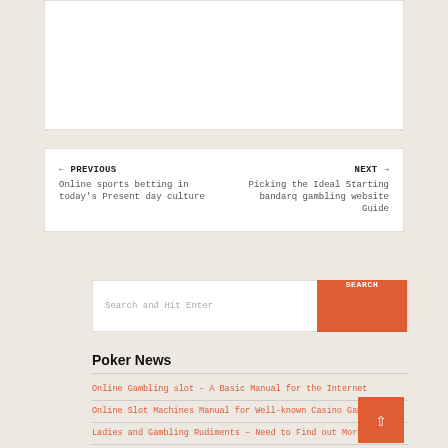[Figure (other): White blank content box at top of page]
← PREVIOUS
Online sports betting in today's Present day culture
NEXT →
Picking the Ideal Starting bandarq gambling website Guide
Search and Hit Enter
SEARCH
Poker News
Online Gambling slot – A Basic Manual for the Internet
Online Slot Machines Manual for Well-known Casino Gambling
Ladies and Gambling Rudiments – Need to Find out More
Factors to Engage in At Agen Slot